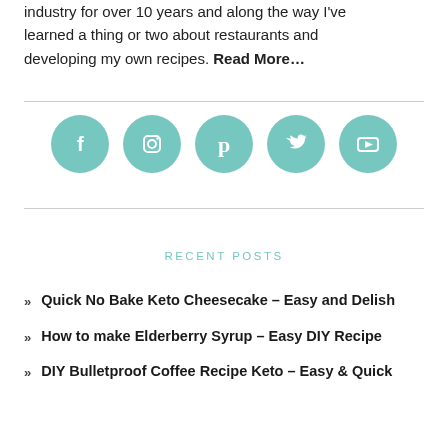industry for over 10 years and along the way I've learned a thing or two about restaurants and developing my own recipes. Read More…
[Figure (infographic): Five teal circular social media icon buttons in a row: Facebook, Instagram, Pinterest, Twitter, YouTube]
RECENT POSTS
Quick No Bake Keto Cheesecake – Easy and Delish
How to make Elderberry Syrup – Easy DIY Recipe
DIY Bulletproof Coffee Recipe Keto – Easy & Quick